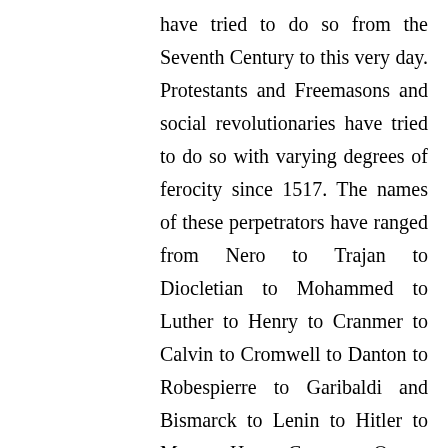have tried to do so from the Seventh Century to this very day. Protestants and Freemasons and social revolutionaries have tried to do so with varying degrees of ferocity since 1517. The names of these perpetrators have ranged from Nero to Trajan to Diocletian to Mohammed to Luther to Henry to Cranmer to Calvin to Cromwell to Danton to Robespierre to Garibaldi and Bismarck to Lenin to Hitler to Mao to Ho to Castro to Ortega and to all of the petty little men and women, many of them apostate Catholics, who have served in our own government in the past thirty to forty years, ever eager to sell out the Faith for their thirty pieces of silver of popularity and political power.
Tyrants never learn their lessons. Inspired by